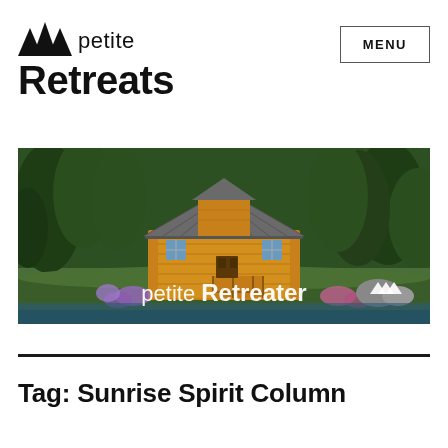petite Retreats
[Figure (screenshot): Website header showing petite Retreats logo with mountain triangle icon on left, and MENU button on right]
[Figure (photo): Banner image of a small yellow/honey-colored wood cabin tiny house with metal roof, surrounded by green forest trees, with 'petite Retreater' text overlay in white]
Tag: Sunrise Spirit Column